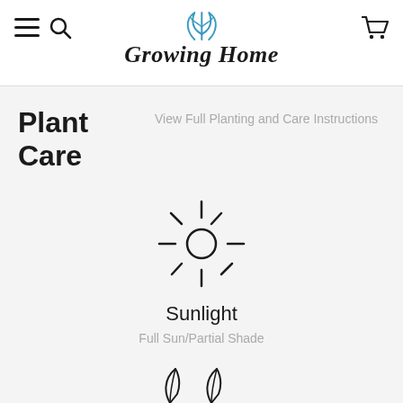Growing Home
Plant Care
View Full Planting and Care Instructions
[Figure (illustration): Sun icon with rays — sunlight symbol]
Sunlight
Full Sun/Partial Shade
[Figure (illustration): Two leaf icons at bottom of page]